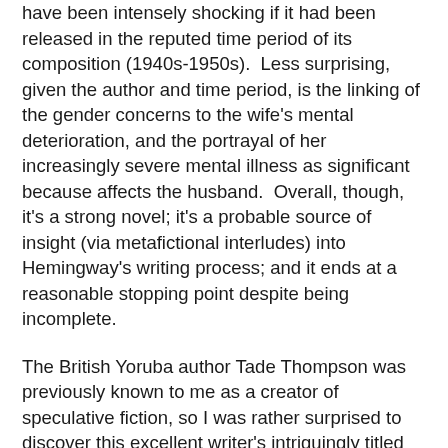have been intensely shocking if it had been released in the reputed time period of its composition (1940s-1950s). Less surprising, given the author and time period, is the linking of the gender concerns to the wife's mental deterioration, and the portrayal of her increasingly severe mental illness as significant because affects the husband. Overall, though, it's a strong novel; it's a probable source of insight (via metafictional interludes) into Hemingway's writing process; and it ends at a reasonable stopping point despite being incomplete.
The British Yoruba author Tade Thompson was previously known to me as a creator of speculative fiction, so I was rather surprised to discover this excellent writer's intriguingly titled debut novel, Making Wolf, is non-spec mystery/suspense. Set in the fictional West African nation of Alcacia, this is a novel well aware of the Bond mythos, and there's a moment where I thought Bond's path was the one the plot would take. Then Thompson smashed that notion to smithereens, and kept smashing. I was not only surprised repeatedly, I was made very aware that my ignorance of what goes on in parts of humanity's home continent was by